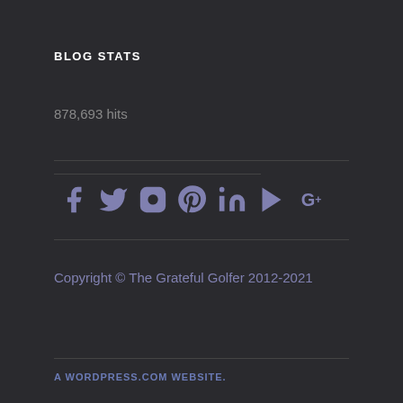BLOG STATS
878,693 hits
[Figure (infographic): Social media icons: Facebook, Twitter, Instagram, Pinterest, LinkedIn, YouTube, Google+]
Copyright © The Grateful Golfer 2012-2021
A WORDPRESS.COM WEBSITE.